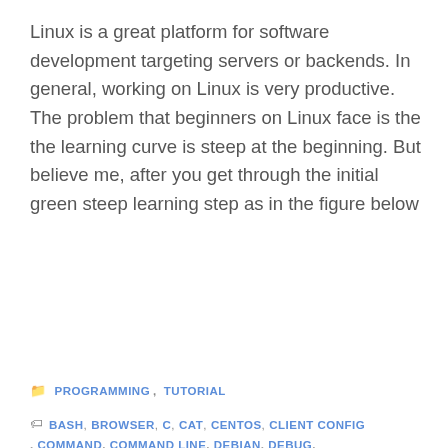Linux is a great platform for software development targeting servers or backends. In general, working on Linux is very productive. The problem that beginners on Linux face is the the learning curve is steep at the beginning. But believe me, after you get through the initial green steep learning step as in the figure below
READ MORE →
PROGRAMMING, TUTORIAL
BASH, BROWSER, C, CAT, CENTOS, CLIENT CONFIG, COMMAND, COMMAND LINE, DEBIAN, DEBUG, DEVELOPMENT, DISTRIBUTED SYSTEMS, DNF, EDITOR, EMACS, FEDORA, GCC, GDB, GOOGLE, HOW TO, LAPTOP, LIBRARY, LINUX, LINUX DISTROS